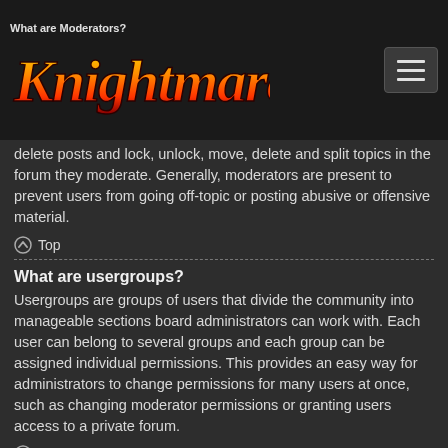Knightmare forum header with logo and navigation menu
What are Moderators?
Moderators are individuals (or groups of individuals) who look after the forums from day to day. They have the authority to edit, delete posts and lock, unlock, move, delete and split topics in the forum they moderate. Generally, moderators are present to prevent users from going off-topic or posting abusive or offensive material.
Top
What are usergroups?
Usergroups are groups of users that divide the community into manageable sections board administrators can work with. Each user can belong to several groups and each group can be assigned individual permissions. This provides an easy way for administrators to change permissions for many users at once, such as changing moderator permissions or granting users access to a private forum.
Top
Where are the usergroups and how do I join one?
You can view all usergroups via the “Usergroups” link within your User Control Panel. If you would like to join one, proceed by